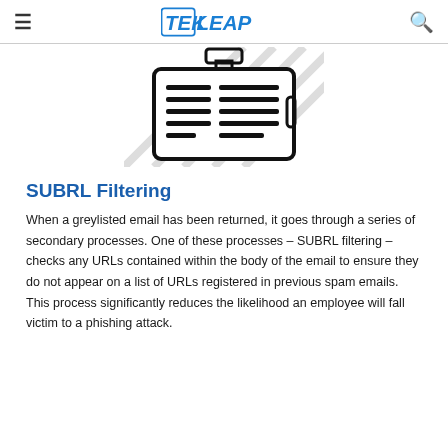TekLeap
[Figure (illustration): Badge/ID card icon with horizontal lines representing text, with a clip at the top. Diagonal watermark lines in background.]
SUBRL Filtering
When a greylisted email has been returned, it goes through a series of secondary processes. One of these processes – SUBRL filtering – checks any URLs contained within the body of the email to ensure they do not appear on a list of URLs registered in previous spam emails. This process significantly reduces the likelihood an employee will fall victim to a phishing attack.